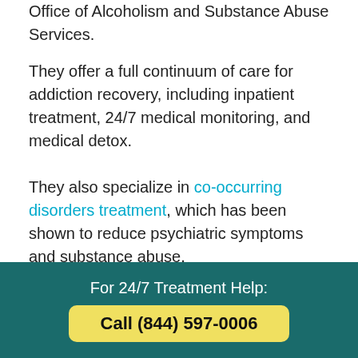Office of Alcoholism and Substance Abuse Services.
They offer a full continuum of care for addiction recovery, including inpatient treatment, 24/7 medical monitoring, and medical detox.
They also specialize in co-occurring disorders treatment, which has been shown to reduce psychiatric symptoms and substance abuse.
Location and contact information:
998 Crooked Hill Rd.
For 24/7 Treatment Help:
Call (844) 597-0006